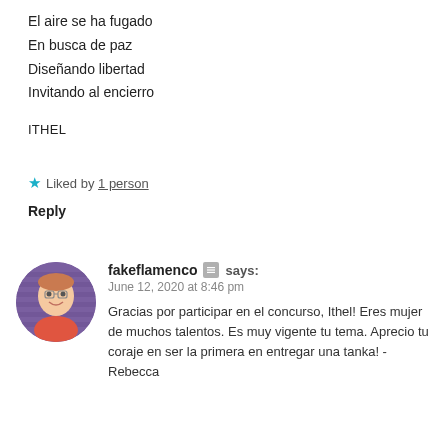El aire se ha fugado
En busca de paz
Diseñando libertad
Invitando al encierro
ITHEL
★ Liked by 1 person
Reply
fakeflamenco says:
June 12, 2020 at 8:46 pm
Gracias por participar en el concurso, Ithel! Eres mujer de muchos talentos. Es muy vigente tu tema. Aprecio tu coraje en ser la primera en entregar una tanka! -Rebecca